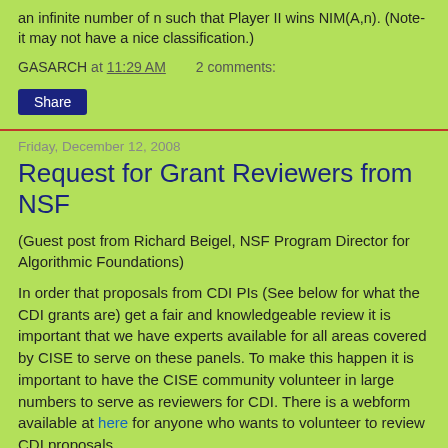an infinite number of n such that Player II wins NIM(A,n). (Note- it may not have a nice classification.)
GASARCH at 11:29 AM    2 comments:
Share
Friday, December 12, 2008
Request for Grant Reviewers from NSF
(Guest post from Richard Beigel, NSF Program Director for Algorithmic Foundations)
In order that proposals from CDI PIs (See below for what the CDI grants are) get a fair and knowledgeable review it is important that we have experts available for all areas covered by CISE to serve on these panels. To make this happen it is important to have the CISE community volunteer in large numbers to serve as reviewers for CDI. There is a webform available at here for anyone who wants to volunteer to review CDI proposals.